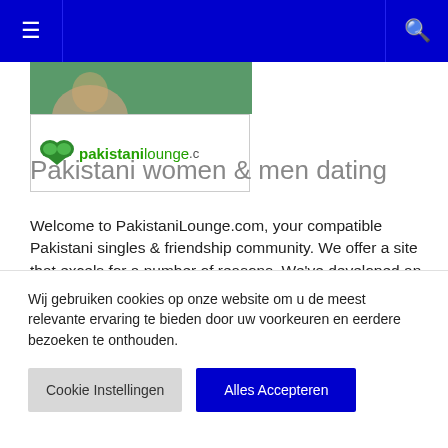≡  🔍
[Figure (logo): PakistaniLounge.com logo with two green hearts and green text]
Pakistani women & men dating
Welcome to PakistaniLounge.com, your compatible Pakistani singles & friendship community. We offer a site that excels for a number of reasons. We've developed an extensive list of questions… over 100 questions on topics ranging from...
Wij gebruiken cookies op onze website om u de meest relevante ervaring te bieden door uw voorkeuren en eerdere bezoeken te onthouden.
Cookie Instellingen   Alles Accepteren